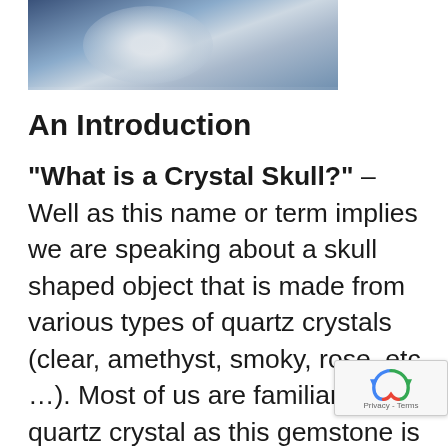[Figure (photo): Partial photo of a crystal skull or round crystal object on a blue background, cropped at top of page]
An Introduction
“What is a Crystal Skull?” – Well as this name or term implies we are speaking about a skull shaped object that is made from various types of quartz crystals (clear, amethyst, smoky, rose, etc …). Most of us are familiar with quartz crystal as this gemstone is a key component within all of our modern-day electronics; devices that we use each and every day (including the computer you are using to read this book btw).